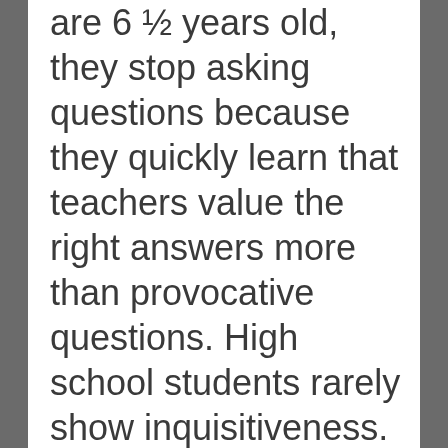are 6 ½ years old, they stop asking questions because they quickly learn that teachers value the right answers more than provocative questions. High school students rarely show inquisitiveness. And by the time they're grown up and are in corporate settings, they have already had the curiosity drummed out of them. Eighty percent of executives spend less than 20 percent of their